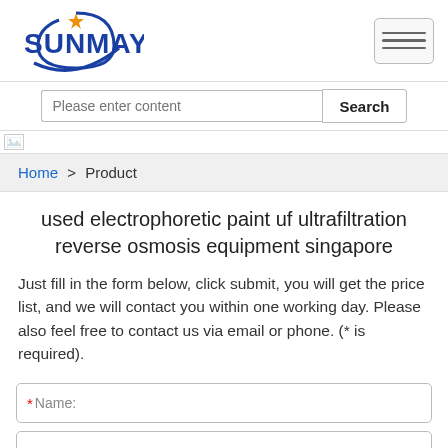[Figure (logo): Sunmay logo with blue text and orange star/arc graphic]
Please enter content
[Figure (screenshot): Broken image placeholder at top of page content]
Home > Product
used electrophoretic paint uf ultrafiltration reverse osmosis equipment singapore
Just fill in the form below, click submit, you will get the price list, and we will contact you within one working day. Please also feel free to contact us via email or phone. (* is required).
* Name: